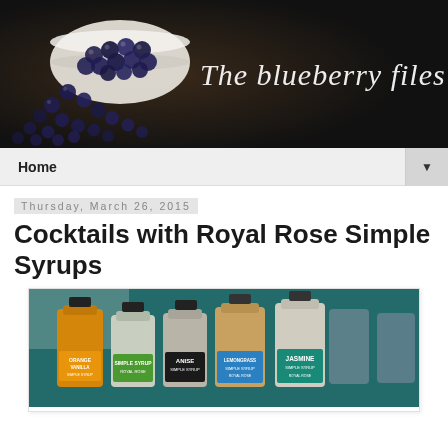[Figure (photo): Blog header banner: dark background with blueberries spilling from a white bowl on the left, and cursive text reading 'The blueberry files' on the right]
Home
Thursday, March 26, 2015
Cocktails with Royal Rose Simple Syrups
[Figure (photo): Photo of five Royal Rose Simple Syrup bottles lined up: Orange Vanilla, (green label), Anise, Lemongrass, and Jasmine flavors, photographed against a dark teal background]